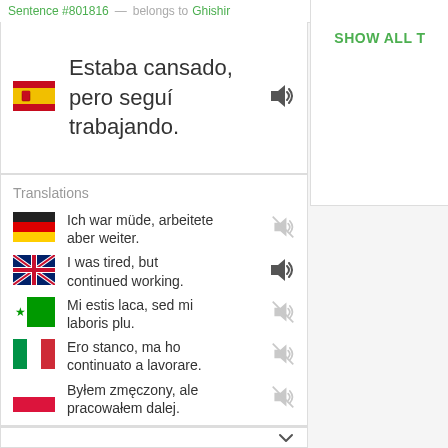Sentence #801816 — belongs to Ghishir
SHOW ALL T
Estaba cansado, pero seguí trabajando.
Translations
Ich war müde, arbeitete aber weiter.
I was tired, but continued working.
Mi estis laca, sed mi laboris plu.
Ero stanco, ma ho continuato a lavorare.
Byłem zmęczony, ale pracowałem dalej.
SHOW 12 MORE TRANSLATIONS